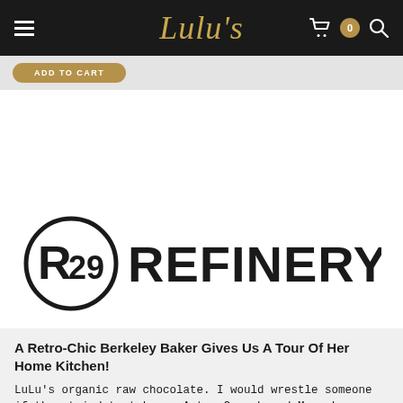Lulu's
[Figure (logo): Refinery29 logo — circular R29 symbol beside bold REFINERY29 wordmark in black]
A Retro-Chic Berkeley Baker Gives Us A Tour Of Her Home Kitchen!
LuLu's organic raw chocolate. I would wrestle someone if they tried to take my Aztec Crunch and Maca Love bars from me.